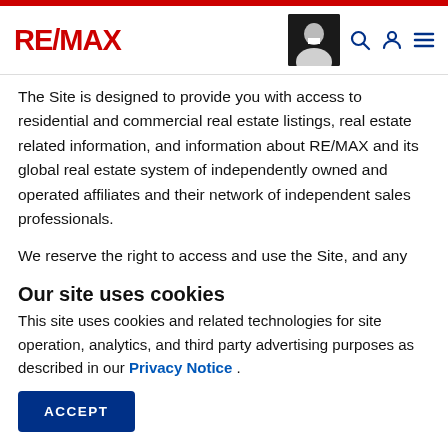[Figure (logo): RE/MAX logo with red RE/MAX text]
The Site is designed to provide you with access to residential and commercial real estate listings, real estate related information, and information about RE/MAX and its global real estate system of independently owned and operated affiliates and their network of independent sales professionals.
We reserve the right to access and use the Site, and any content and information therein, to the extent necessary to run the Site and make it available to you and others, to protect the Site, and to evaluate and
Our site uses cookies
This site uses cookies and related technologies for site operation, analytics, and third party advertising purposes as described in our Privacy Notice .